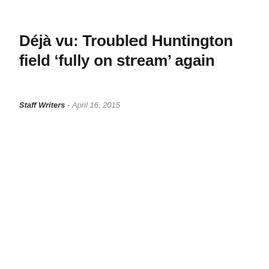Déjà vu: Troubled Huntington field ‘fully on stream’ again
Staff Writers  -  April 16, 2015